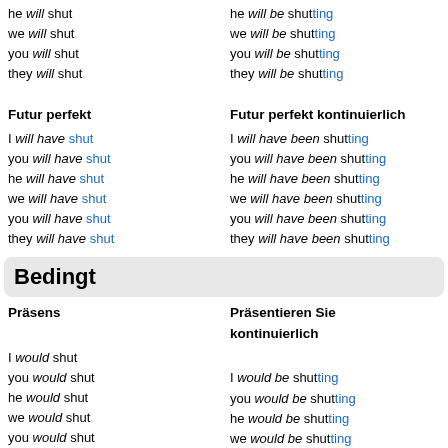he will shut
we will shut
you will shut
they will shut
he will be shutting
we will be shutting
you will be shutting
they will be shutting
Futur perfekt
Futur perfekt kontinuierlich
I will have shut
you will have shut
he will have shut
we will have shut
you will have shut
they will have shut
I will have been shutting
you will have been shutting
he will have been shutting
we will have been shutting
you will have been shutting
they will have been shutting
Bedingt
Präsens
Präsentieren Sie kontinuierlich
I would shut
you would shut
he would shut
we would shut
you would shut
they would shut
I would be shutting
you would be shutting
he would be shutting
we would be shutting
you would be shutting
they would be shutting
Perfekt
Perfekt kontinuierlich
I would have shut
you would have shut
I would have been shutting
you would have been shutting